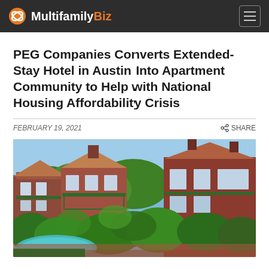MultifamilyBiz
PEG Companies Converts Extended-Stay Hotel in Austin Into Apartment Community to Help with National Housing Affordability Crisis
FEBRUARY 19, 2021 | SHARE
[Figure (photo): Aerial view of a brick apartment community with lush green trees, red roofing, green trim balconies and staircases, and a partial view of a pool with a teal cover in the foreground.]